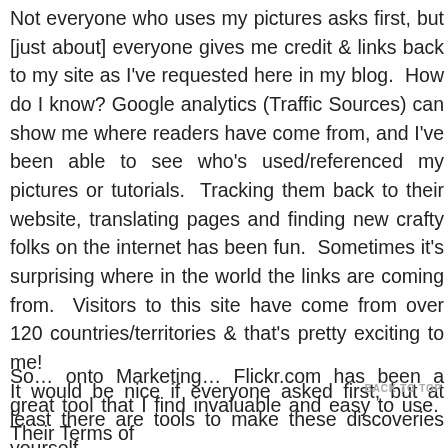Not everyone who uses my pictures asks first, but [just about] everyone gives me credit & links back to my site as I've requested here in my blog.  How do I know? Google analytics (Traffic Sources) can show me where readers have come from, and I've been able to see who's used/referenced my pictures or tutorials.  Tracking them back to their website, translating pages and finding new crafty folks on the internet has been fun.  Sometimes it's surprising where in the world the links are coming from.  Visitors to this site have come from over 120 countries/territories & that's pretty exciting to me! It would be nice if everyone asked first, but at least there are tools to make these discoveries yourself.
BACK TO TOP
So… onto Marketing… Flickr.com has been a great tool that I find invaluable and easy to use.  Their Terms of